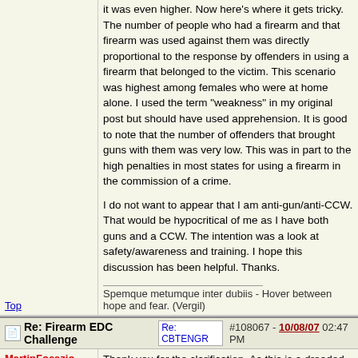it was even higher. Now here's where it gets tricky. The number of people who had a firearm and that firearm was used against them was directly proportional to the response by offenders in using a firearm that belonged to the victim. This scenario was highest among females who were at home alone. I used the term "weakness" in my original post but should have used apprehension. It is good to note that the number of offenders that brought guns with them was very low. This was in part to the high penalties in most states for using a firearm in the commission of a crime.
I do not want to appear that I am anti-gun/anti-CCW. That would be hypocritical of me as I have both guns and a CCW. The intention was a look at safety/awareness and training. I hope this discussion has been helpful. Thanks.
Spemque metumque inter dubiis - Hover between hope and fear. (Vergil)
Top
Re: Firearm EDC Challenge [Re: CBTENGR] #108067 - 10/08/07 02:47 PM
MartinFocazio
Pooh-Bah
Registered: 01/21/03
Thank you for the clarification. As this is a dreaded gun thread, one of our leading thread lockers, I fell a need to "button up" a bit, at least for this discussion. I don't have time here at work to look for it, however, I seem to recall that the "aggressive stance" vs. the "tentative stance" was a topic of discussion in one of the